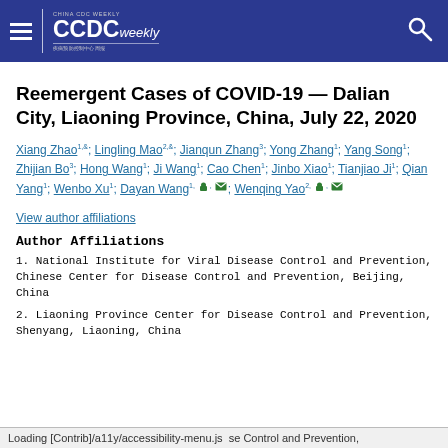CCDC Weekly — China CDC Weekly
Reemergent Cases of COVID-19 — Dalian City, Liaoning Province, China, July 22, 2020
Xiang Zhao1,&; Lingling Mao2,&; Jianqun Zhang3; Yong Zhang1; Yang Song1; Zhijian Bo3; Hong Wang1; Ji Wang1; Cao Chen1; Jinbo Xiao1; Tianjiao Ji1; Qian Yang1; Wenbo Xu1; Dayan Wang1, [person icon], [mail icon]; Wenqing Yao2, [person icon], [mail icon]
View author affiliations
Author Affiliations
1. National Institute for Viral Disease Control and Prevention, Chinese Center for Disease Control and Prevention, Beijing, China
2. Liaoning Province Center for Disease Control and Prevention, Shenyang, Liaoning, China
Loading [Contrib]/a11y/accessibility-menu.js  se Control and Prevention,